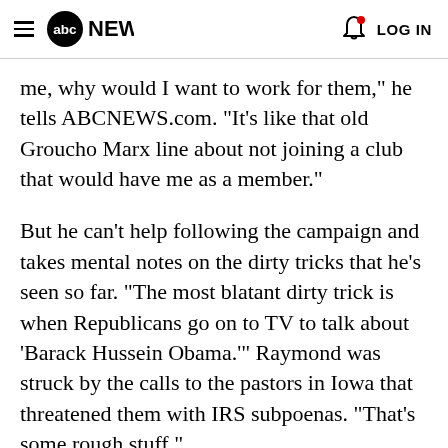abc NEWS  LOG IN
me, why would I want to work for them," he tells ABCNEWS.com. "It's like that old Groucho Marx line about not joining a club that would have me as a member."
But he can't help following the campaign and takes mental notes on the dirty tricks that he's seen so far. "The most blatant dirty trick is when Republicans go on to TV to talk about 'Barack Hussein Obama.'" Raymond was struck by the calls to the pastors in Iowa that threatened them with IRS subpoenas. "That's some rough stuff."
Raymond is also following New Hampshire